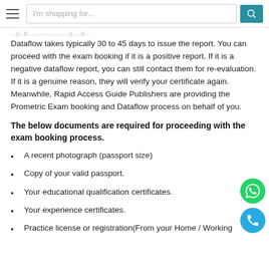I'm shopping for...
Dataflow takes typically 30 to 45 days to issue the report. You can proceed with the exam booking if it is a positive report. If it is a negative dataflow report, you can still contact them for re-evaluation. If it is a genuine reason, they will verify your certificate again. Meanwhile, Rapid Access Guide Publishers are providing the Prometric Exam booking and Dataflow process on behalf of you.
The below documents are required for proceeding with the exam booking process.
A recent photograph (passport size)
Copy of your valid passport.
Your educational qualification certificates.
Your experience certificates.
Practice license or registration(From your Home / Working